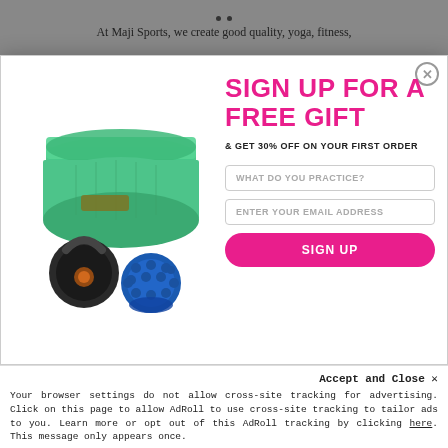At Maji Sports, we create good quality, yoga, fitness,
[Figure (photo): Fitness products including a rolled green yoga mat, a black kettlebell, and a blue foam roller]
SIGN UP FOR A FREE GIFT
& GET 30% OFF ON YOUR FIRST ORDER
WHAT DO YOU PRACTICE?
ENTER YOUR EMAIL ADDRESS
SIGN UP
Accept and Close ✕
Your browser settings do not allow cross-site tracking for advertising. Click on this page to allow AdRoll to use cross-site tracking to tailor ads to you. Learn more or opt out of this AdRoll tracking by clicking here. This message only appears once.